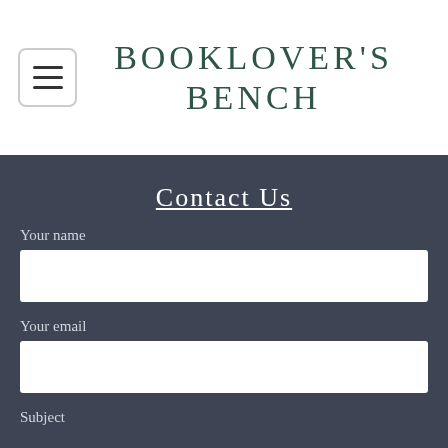[Figure (logo): Booklover's Bench logo with hamburger menu button on the left and serif text 'BOOKLOVER'S BENCH' in dark green on the right]
Contact Us
Your name
Your email
Subject